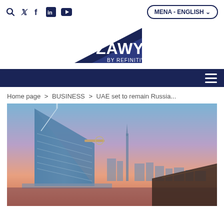Social icons: search, twitter, facebook, linkedin, youtube | MENA - ENGLISH
[Figure (logo): Zawya by Refinitiv logo — dark blue triangle shape with ZAWYA text and 'BY REFINITIV' subtitle]
Home page > BUSINESS > UAE set to remain Russia...
[Figure (photo): Dubai skyline at sunset featuring the Burj Al Arab sail-shaped hotel in the foreground and the Burj Khalifa skyscraper in the background, warm pink and blue sky tones]